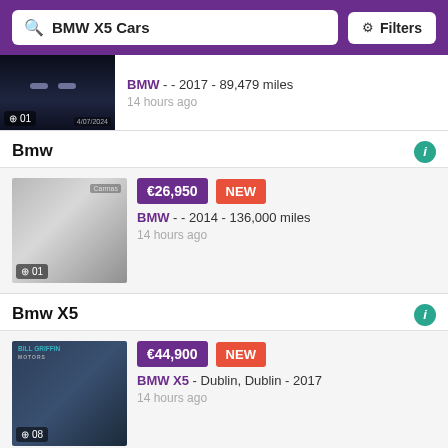BMW X5 Cars  Filters
BMW - - 2017 - 89,479 miles
14 hours ago
Bmw
€26,950  NEW
BMW - - 2014 - 136,000 miles
14 hours ago
Bmw X5
€44,900  NEW
BMW X5 - Dublin, Dublin - 2017
14 hours ago
Bmw X5
Request Details  NEW